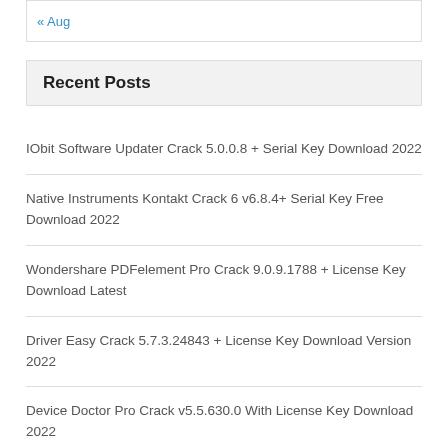« Aug
Recent Posts
IObit Software Updater Crack 5.0.0.8 + Serial Key Download 2022
Native Instruments Kontakt Crack 6 v6.8.4+ Serial Key Free Download 2022
Wondershare PDFelement Pro Crack 9.0.9.1788 + License Key Download Latest
Driver Easy Crack 5.7.3.24843 + License Key Download Version 2022
Device Doctor Pro Crack v5.5.630.0 With License Key Download 2022